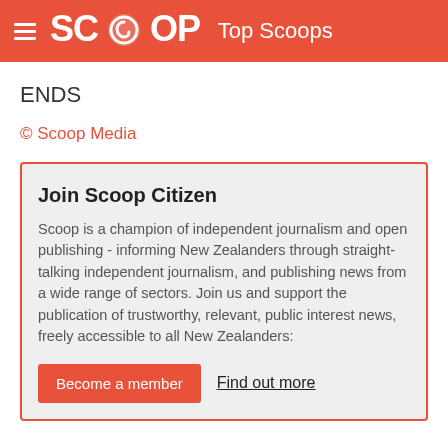SCOOP Top Scoops
ENDS
© Scoop Media
Join Scoop Citizen
Scoop is a champion of independent journalism and open publishing - informing New Zealanders through straight-talking independent journalism, and publishing news from a wide range of sectors. Join us and support the publication of trustworthy, relevant, public interest news, freely accessible to all New Zealanders:
Become a member   Find out more